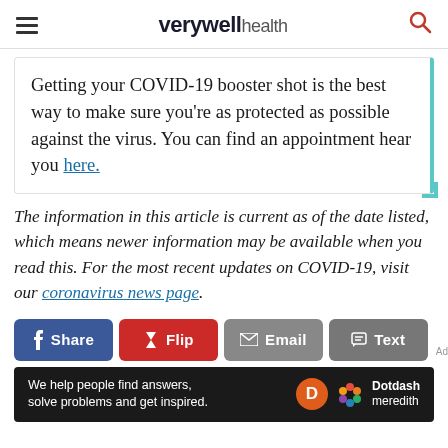verywell health
Getting your COVID-19 booster shot is the best way to make sure you're as protected as possible against the virus. You can find an appointment hear you here.
The information in this article is current as of the date listed, which means newer information may be available when you read this. For the most recent updates on COVID-19, visit our coronavirus news page.
Share | Flip | Email | Text
We help people find answers, solve problems and get inspired. Dotdash meredith